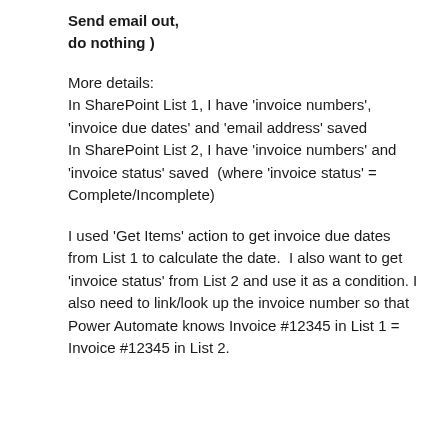Send email out,
do nothing )
More details:
In SharePoint List 1, I have 'invoice numbers', 'invoice due dates' and 'email address' saved
In SharePoint List 2, I have 'invoice numbers' and 'invoice status' saved  (where 'invoice status' = Complete/Incomplete)
I used 'Get Items' action to get invoice due dates from List 1 to calculate the date.  I also want to get 'invoice status' from List 2 and use it as a condition. I also need to link/look up the invoice number so that Power Automate knows Invoice #12345 in List 1 = Invoice #12345 in List 2.